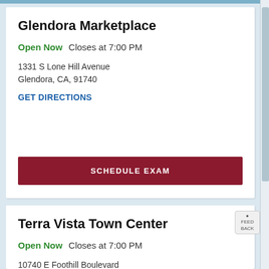Glendora Marketplace
Open Now   Closes at 7:00 PM
1331 S Lone Hill Avenue
Glendora, CA, 91740
GET DIRECTIONS
SCHEDULE EXAM
Terra Vista Town Center
Open Now   Closes at 7:00 PM
10740 E Foothill Boulevard
Rancho Cucamonga, CA, 91730